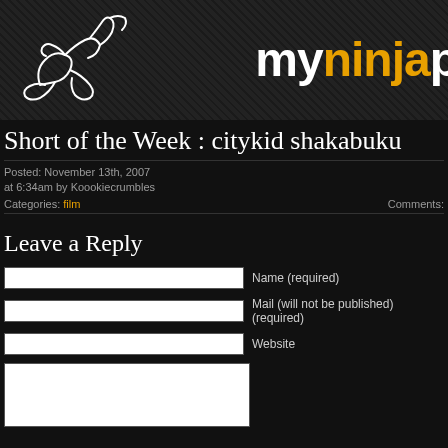[Figure (logo): myninja website header banner with dark textured background, white ninja figure on left, and 'myninja' text on right with 'my' in white and 'ninja' in gold/orange]
Short of the Week : citykid shakabuku
Posted: November 13th, 2007
at 6:34am by Koookiecrumbles
Categories: film    Comments:
Leave a Reply
Name (required)
Mail (will not be published) (required)
Website